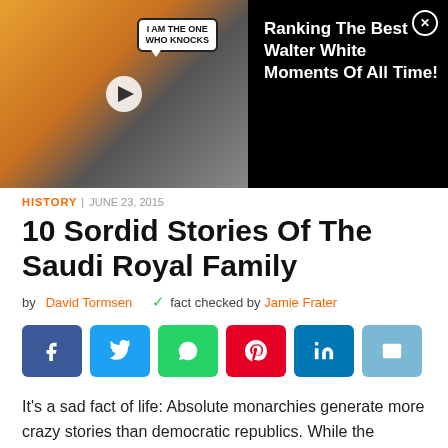[Figure (screenshot): Video ad banner showing a woman and Walter White (Breaking Bad) with text 'Ranking The Best Walter White Moments Of All Time!']
HISTORY | JUNE 23, 2015
10 Sordid Stories Of The Saudi Royal Family
by David Tormsen   fact checked by Jamie Frater
[Figure (infographic): Social media share buttons: Facebook, Twitter, WhatsApp, Pinterest, LinkedIn, Email]
It's a sad fact of life: Absolute monarchies generate more crazy stories than democratic republics. While the common people of the Saudi state are subject to strict rules and tender mercies of the religious police, the royal family are subject to no such restrictions and live lives of